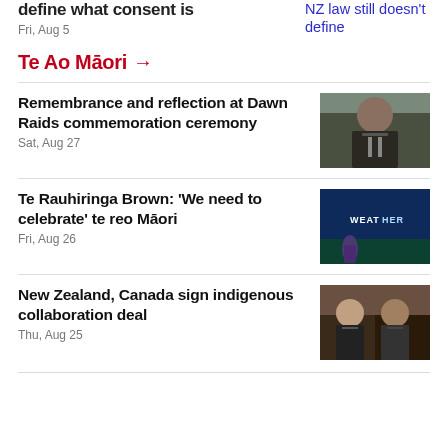define what consent is
Fri, Aug 5
NZ law still doesn't define
Te Ao Māori →
Remembrance and reflection at Dawn Raids commemoration ceremony
Sat, Aug 27
[Figure (photo): Man in suit speaking at an event]
Te Rauhiringa Brown: 'We need to celebrate' te reo Māori
Fri, Aug 26
[Figure (photo): TV weather presenter in front of weather screen]
New Zealand, Canada sign indigenous collaboration deal
Thu, Aug 25
[Figure (photo): Two officials in formal attire]